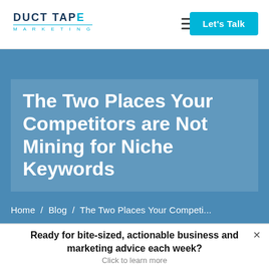DUCT TAPE MARKETING
The Two Places Your Competitors are Not Mining for Niche Keywords
Home / Blog / The Two Places Your Competi...
Ready for bite-sized, actionable business and marketing advice each week? Click to learn more